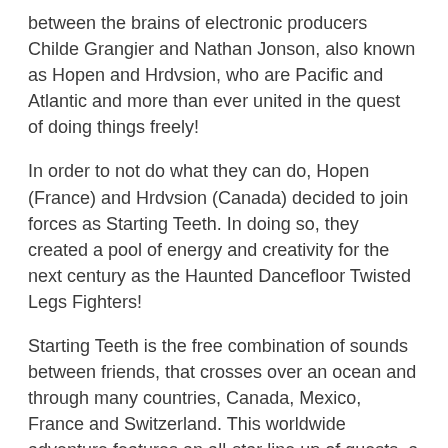between the brains of electronic producers Childe Grangier and Nathan Jonson, also known as Hopen and Hrdvsion, who are Pacific and Atlantic and more than ever united in the quest of doing things freely!
In order to not do what they can do, Hopen (France) and Hrdvsion (Canada) decided to join forces as Starting Teeth. In doing so, they created a pool of energy and creativity for the next century as the Haunted Dancefloor Twisted Legs Fighters!
Starting Teeth is the free combination of sounds between friends, that crosses over an ocean and through many countries, Canada, Mexico, France and Switzerland. This worldwide adventure features an all-star line up of guests, a true "dream team" combination of electronic warriors, including Danuel Tate (From Cobblestone Jazz posse), Oliver (founder and owner of the Mental Groove label), the